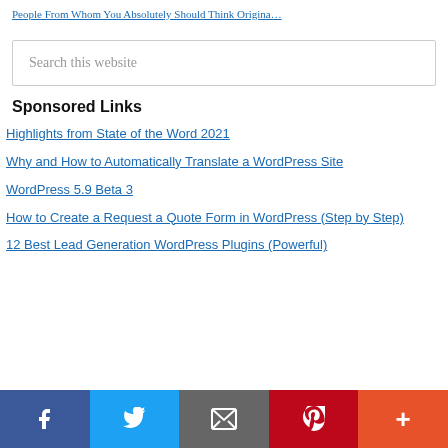People From Whom You Absolutely Should Think Origina…
Search this website
Sponsored Links
Highlights from State of the Word 2021
Why and How to Automatically Translate a WordPress Site
WordPress 5.9 Beta 3
How to Create a Request a Quote Form in WordPress (Step by Step)
12 Best Lead Generation WordPress Plugins (Powerful)
[Figure (infographic): Social sharing bar with Facebook, Twitter, Email, Pinterest, and More buttons]